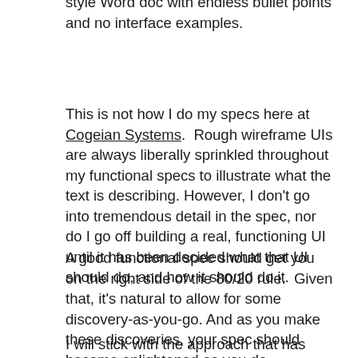style Word doc with endless bullet points and no interface examples.
This is not how I do my specs here at Cogeian Systems.  Rough wireframe UIs are always liberally sprinkled throughout my functional specs to illustrate what the text is describing. However, I don't go into tremendous detail in the spec, nor do I go off building a real, functioning UI until it has been decided what that UI should do, and how it should do it.
A good functional spec should get you on the right side of the 80/20 rule.  Given that, it's natural to allow for some discovery-as-you-go. And as you make these discoveries, your spec should become enlightened as you do.
I will stick with the approach that has made my